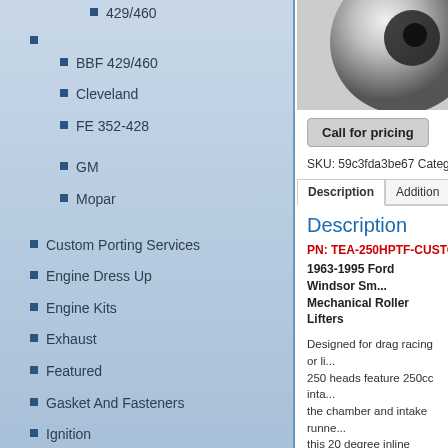429/460
BBF 429/460
Cleveland
FE 352-428
GM
Mopar
Custom Porting Services
Engine Dress Up
Engine Kits
Exhaust
Featured
Gasket And Fasteners
Ignition
Tools
Uncategorized
[Figure (photo): Partial view of a metallic circular engine component]
Call for pricing
SKU: 59c3fda3be67 Category:
Description
Description
PN: TEA-250HPTF-CUSTOM
1963-1995 Ford Windsor Sm... Mechanical Roller Lifters
Designed for drag racing or li... 250 heads feature 250cc inta... the chamber and intake runne... this 20 degree inline head opt...